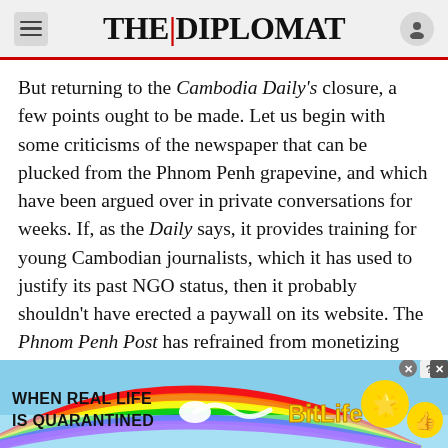THE DIPLOMAT
But returning to the Cambodia Daily's closure, a few points ought to be made. Let us begin with some criticisms of the newspaper that can be plucked from the Phnom Penh grapevine, and which have been argued over in private conversations for weeks. If, as the Daily says, it provides training for young Cambodian journalists, which it has used to justify its past NGO status, then it probably shouldn't have erected a paywall on its website. The Phnom Penh Post has refrained from monetizing online readership, and it doesn't make such claims about being a teaching institute.
[Figure (advertisement): BitLife mobile game advertisement with rainbow background, text 'WHEN REAL LIFE IS QUARANTINED' and BitLife logo with emoji characters]